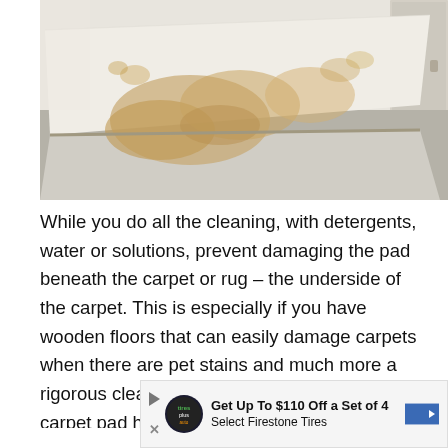[Figure (photo): A peeled-back carpet or rug showing yellow-brown stains on the white underside padding, with grey flooring visible beneath. The image is taken indoors with a door partially visible in the background.]
While you do all the cleaning, with detergents, water or solutions, prevent damaging the pad beneath the carpet or rug – the underside of the carpet. This is especially if you have wooden floors that can easily damage carpets when there are pet stains and much more a rigorous cleaning process. The cleaning of the carpet pad helps got rid of molds and must that not only damages the
[Figure (infographic): Advertisement banner: 'Get Up To $110 Off a Set of 4 Select Firestone Tires' with Tires Plus auto logo on left and blue arrow sign on right.]